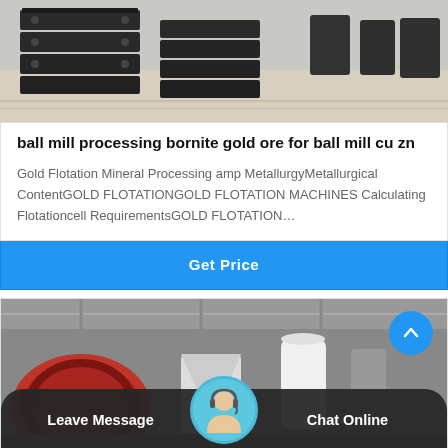[Figure (photo): Industrial machinery parts (black metal components stacked in a warehouse/factory setting)]
ball mill processing bornite gold ore for ball mill cu zn
Gold Flotation Mineral Processing amp MetallurgyMetallurgical ContentGOLD FLOTATIONGOLD FLOTATION MACHINES Calculating Flotationcell RequirementsGOLD FLOTATION…
Get Price
[Figure (photo): Industrial factory interior with large red grinding/milling machinery]
Leave Message
Chat Online